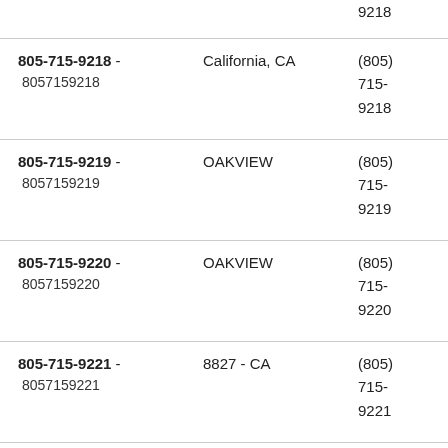| Phone Number | Location | Formatted |
| --- | --- | --- |
| 805-715-9218 - 8057159218 | California, CA | (805) 715-9218 |
| 805-715-9219 - 8057159219 | OAKVIEW | (805) 715-9219 |
| 805-715-9220 - 8057159220 | OAKVIEW | (805) 715-9220 |
| 805-715-9221 - 8057159221 | 8827 - CA | (805) 715-9221 |
| 805-715-9222 - | 8827 - CA | (805) |